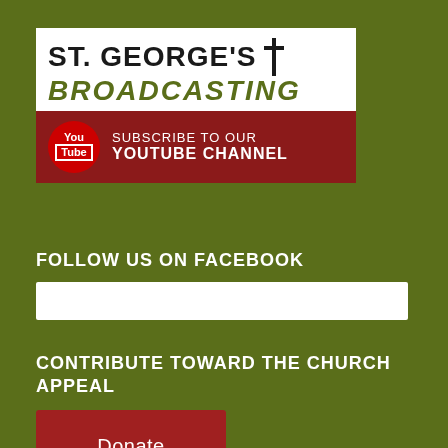[Figure (logo): St. George's Broadcasting logo with YouTube subscribe banner. White box with large bold text 'ST. GEORGE'S' with a cross symbol, green italic bold 'BROADCASTING', and a dark red YouTube subscribe bar below with YouTube circle icon and 'SUBSCRIBE TO OUR YOUTUBE CHANNEL' text.]
FOLLOW US ON FACEBOOK
[Figure (other): White horizontal bar representing a Facebook widget/embed area.]
CONTRIBUTE TOWARD THE CHURCH APPEAL
[Figure (other): Red Donate button for church appeal contributions.]